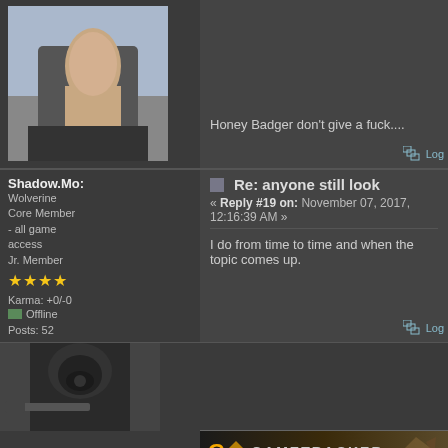[Figure (photo): Thumbs up gesture photo, partial view at top of page]
Honey Badger don't give a fuck....
Log
Shadow.Mo:
Wolverine
Core Member
- all game access
Jr. Member
★★★★
Karma: +0/-0
Offline
Posts: 52
Re: anyone still look
« Reply #19 on: November 07, 2017, 12:16:39 AM »
I do from time to time and when the topic comes up.
Log
[Figure (photo): Avatar image of a soldier/character with gas mask]
[Figure (logo): GameTracker banner/logo at bottom]